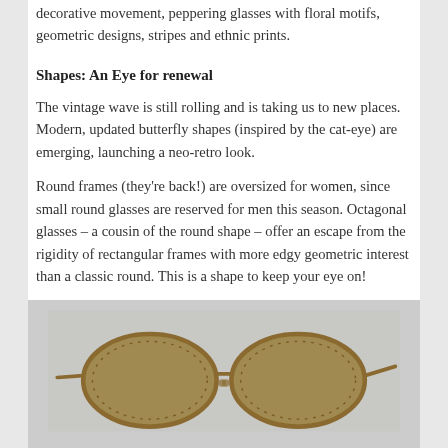decorative movement, peppering glasses with floral motifs, geometric designs, stripes and ethnic prints.
Shapes: An Eye for renewal
The vintage wave is still rolling and is taking us to new places.  Modern, updated butterfly shapes (inspired by the cat-eye) are emerging, launching a neo-retro look.
Round frames (they're back!) are oversized for women, since small round glasses are reserved for men this season. Octagonal glasses – a cousin of the round shape – offer an escape from the rigidity of rectangular frames with more edgy geometric interest than a classic round. This is a shape to keep your eye on!
[Figure (photo): Photo of a pair of round/octagonal gold-framed sunglasses with brown lenses, shown on a light gray background.]